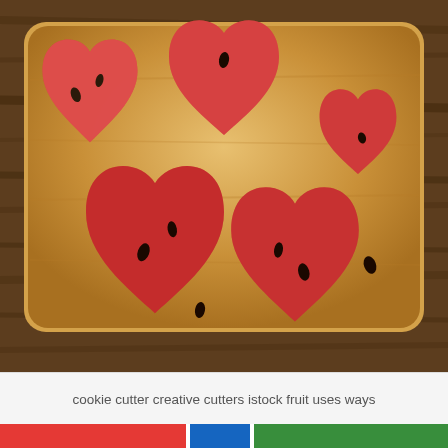[Figure (photo): Heart-shaped watermelon slices arranged on a wooden cutting board, placed on a dark wood table. Five heart-shaped pieces of red watermelon with visible seeds, on a light tan cutting board.]
cookie cutter creative cutters istock fruit uses ways